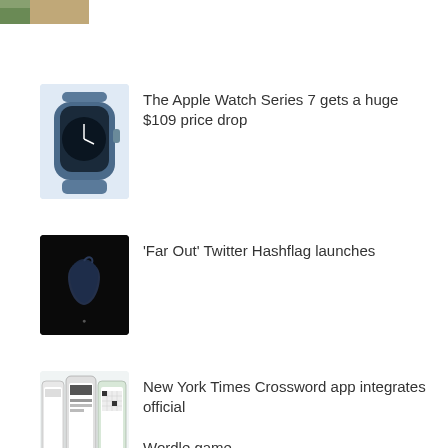[Figure (photo): Partial image of a person at the top of the page, cropped]
[Figure (photo): Apple Watch Series 7 in blue with matching band]
The Apple Watch Series 7 gets a huge $109 price drop
[Figure (photo): Apple logo on dark/black background]
'Far Out' Twitter Hashflag launches
[Figure (photo): Three smartphones showing New York Times Crossword app screens]
New York Times Crossword app integrates official Wordle game
[Figure (photo): Tablet or device screen, partial view at bottom]
Roku and Samsung giving away free 3 months of Apple